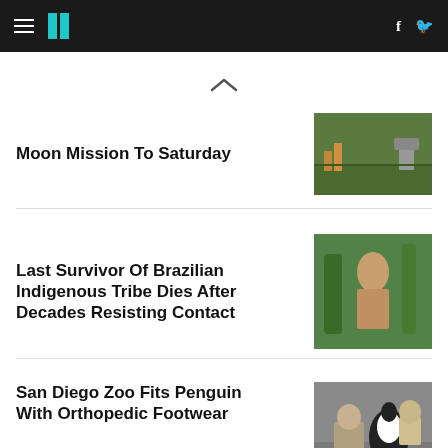HuffPost navigation with hamburger menu, logo, Facebook and Twitter icons
[Figure (screenshot): Chevron/up arrow indicating collapsible section]
Moon Mission To Saturday
[Figure (photo): Outdoor scene with grass, orange equipment, and fencing]
Last Survivor Of Brazilian Indigenous Tribe Dies After Decades Resisting Contact
[Figure (photo): Person standing among tropical trees and foliage]
San Diego Zoo Fits Penguin With Orthopedic Footwear
[Figure (photo): Zoo personnel crouching with a penguin wearing special footwear]